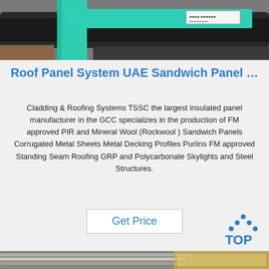[Figure (photo): Close-up photo of green pipe/panel system with black metal components and a printed label, on a workshop background]
Roof Panel System UAE Sandwich Panel …
Cladding & Roofing Systems TSSC the largest insulated panel manufacturer in the GCC specializes in the production of FM approved PIR and Mineral Wool (Rockwool ) Sandwich Panels Corrugated Metal Sheets Metal Decking Profiles Purlins FM approved Standing Seam Roofing GRP and Polycarbonate Skylights and Steel Structures.
Get Price
[Figure (logo): TOP logo — blue dots arranged in a triangle above blue text 'TOP']
[Figure (photo): Close-up photo of stacked metal sheets or profiles with yellow/gold packaging material]